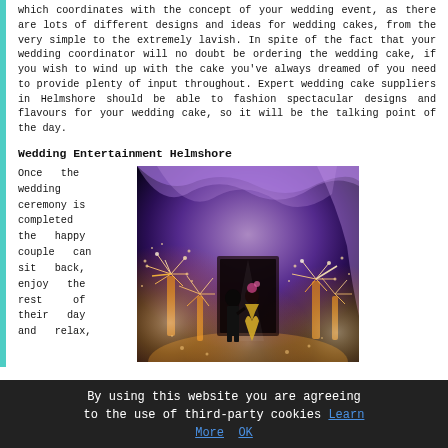which coordinates with the concept of your wedding event, as there are lots of different designs and ideas for wedding cakes, from the very simple to the extremely lavish. In spite of the fact that your wedding coordinator will no doubt be ordering the wedding cake, if you wish to wind up with the cake you've always dreamed of you need to provide plenty of input throughout. Expert wedding cake suppliers in Helmshore should be able to fashion spectacular designs and flavours for your wedding cake, so it will be the talking point of the day.
Wedding Entertainment Helmshore
Once the wedding ceremony is completed the happy couple can sit back, enjoy the rest of their day and relax,
[Figure (photo): A couple walking into a wedding reception venue with sparkling fireworks/sparklers lining their path, purple and blue draped fabric ceiling, dramatic lighting]
By using this website you are agreeing to the use of third-party cookies Learn More OK